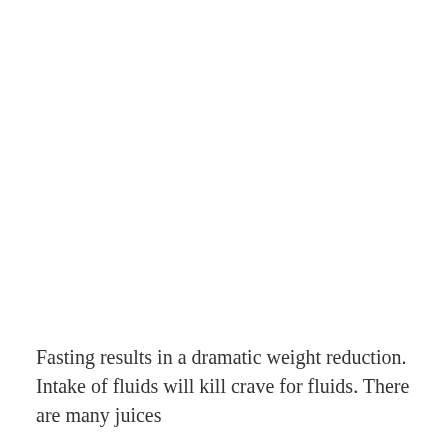Fasting results in a dramatic weight reduction. Intake of fluids will kill crave for fluids. There are many juices